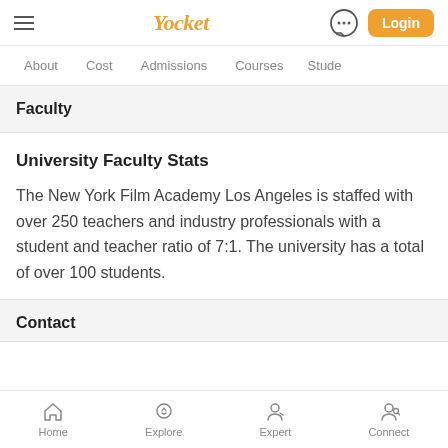Yocket — Login
About  Cost  Admissions  Courses  Stude
Faculty
University Faculty Stats
The New York Film Academy Los Angeles is staffed with over 250 teachers and industry professionals with a student and teacher ratio of 7:1. The university has a total of over 100 students.
Contact
Home  Explore  Expert  Connect